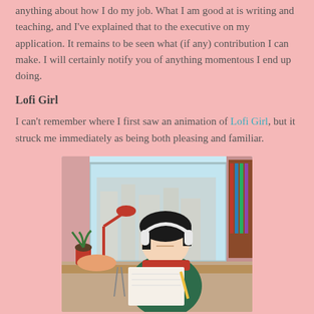anything about how I do my job. What I am good at is writing and teaching, and I've explained that to the executive on my application. It remains to be seen what (if any) contribution I can make. I will certainly notify you of anything momentous I end up doing.
Lofi Girl
I can't remember where I first saw an animation of Lofi Girl, but it struck me immediately as being both pleasing and familiar.
[Figure (illustration): Animated illustration of the Lofi Girl: a young woman with dark hair wearing large white headphones, sitting at a desk and writing, with a desk lamp, plants, books, and a window showing a city skyline in the background.]
Lofi Girl is the name of a French YouTube channel and music label, which, which provides an endless stream of what Wikipedia calls lo-fi hip-hop, accompanied by an endless